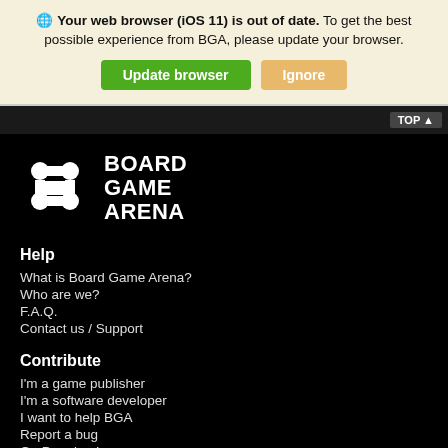Your web browser (iOS 11) is out of date. To get the best possible experience from BGA, please update your browser.
Update browser | Ignore
[Figure (logo): Board Game Arena logo with puzzle piece icon and text BOARD GAME ARENA in white on black background]
Help
What is Board Game Arena?
Who are we?
F.A.Q.
Contact us / Support
Contribute
I'm a game publisher
I'm a software developer
I want to help BGA
Report a bug
Go Premium!